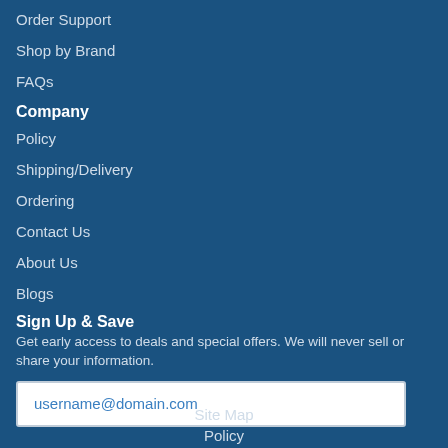Order Support
Shop by Brand
FAQs
Company
Policy
Shipping/Delivery
Ordering
Contact Us
About Us
Blogs
Sign Up & Save
Get early access to deals and special offers. We will never sell or share your information.
username@domain.com
Site Map
Policy